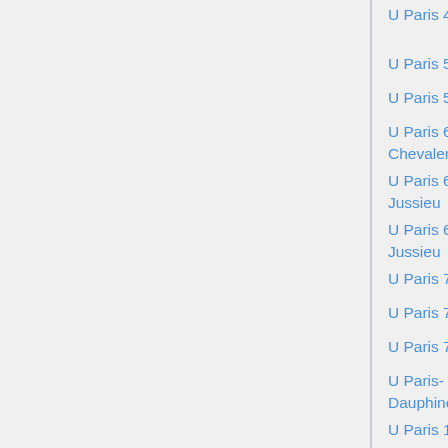U Paris 4 | education (m25/26)
U Paris 5 | probability (m26)
U Paris 5, IUT | sci comp (m26)
U Paris 6, Chevaleret | alg/geom (m25)
U Paris 6, Jussieu | various (m25) (5)
U Paris 6, Jussieu | various applied (m26) (7)
U Paris 7 | anal/geom (m25)
U Paris 7 | logic/anal (m25)
U Paris 7 | stat (m26)
U Paris-Dauphine | various (m26) (5)
U Paris 10 | prob/stat (m26) (4)
U Paris 11 | PDE/dynam (m25/26)
U Paris 11 | all math (m25/26) (5)
U Paris 11 | applied (m26)